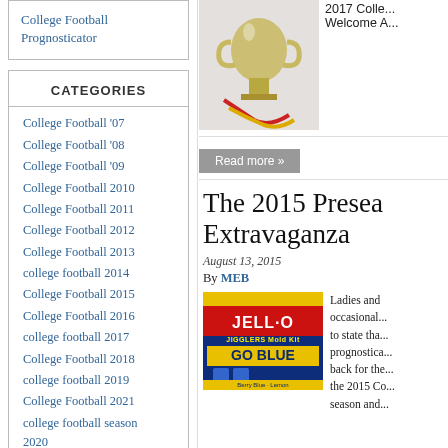College Football Prognosticator
CATEGORIES
College Football '07
College Football '08
College Football '09
College Football 2010
College Football 2011
College Football 2012
College Football 2013
college football 2014
College Football 2015
College Football 2016
college football 2017
College Football 2018
college football 2019
College Football 2021
college football season 2020
Hootie's Corner
mike blackwood Sunnyside up
Over Easy Mike
[Figure (photo): A silver trophy with red and yellow ribbons on white/grey background]
2017 Colle... Welcome A...
Read more »
The 2015 Presea... Extravaganza
August 13, 2015
By MEB
[Figure (photo): Jell-O brand Jigglers Mold Kit box with 'GO BLUE' Michigan branding in navy and yellow]
Ladies and occasional... to state tha... prognostica... back for the... the 2015 Co... season and...